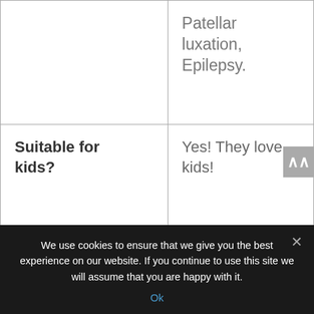|  |  |
| --- | --- |
|  | Patellar luxation, Epilepsy. |
| Suitable for kids? | Yes! They love kids! |
| How much do they bark? | Occasional |
| Can they be left alone? | No. They can suffer from |
We use cookies to ensure that we give you the best experience on our website. If you continue to use this site we will assume that you are happy with it.
Ok